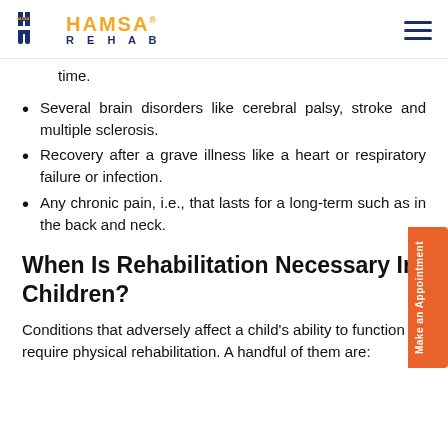HAMSA REHAB
time.
Several brain disorders like cerebral palsy, stroke and multiple sclerosis.
Recovery after a grave illness like a heart or respiratory failure or infection.
Any chronic pain, i.e., that lasts for a long-term such as in the back and neck.
When Is Rehabilitation Necessary In Children?
Conditions that adversely affect a child's ability to function require physical rehabilitation. A handful of them are: